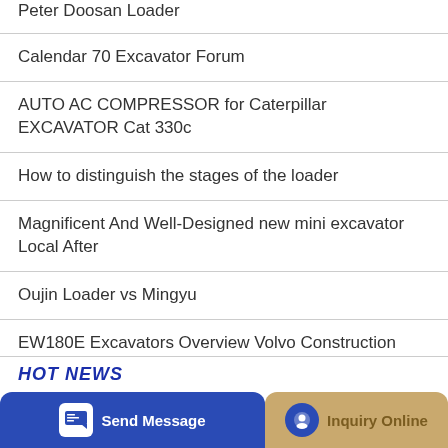Peter Doosan Loader
Calendar 70 Excavator Forum
AUTO AC COMPRESSOR for Caterpillar EXCAVATOR Cat 330c
How to distinguish the stages of the loader
Magnificent And Well-Designed new mini excavator Local After
Oujin Loader vs Mingyu
EW180E Excavators Overview Volvo Construction Equipment
Used small loaders wholesale
Send Message | Inquiry Online | HOT NEWS